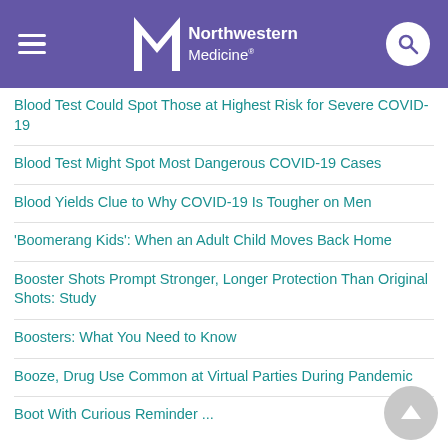Northwestern Medicine
Blood Test Could Spot Those at Highest Risk for Severe COVID-19
Blood Test Might Spot Most Dangerous COVID-19 Cases
Blood Yields Clue to Why COVID-19 Is Tougher on Men
'Boomerang Kids': When an Adult Child Moves Back Home
Booster Shots Prompt Stronger, Longer Protection Than Original Shots: Study
Boosters: What You Need to Know
Booze, Drug Use Common at Virtual Parties During Pandemic
Boot With Curious Reminder ...